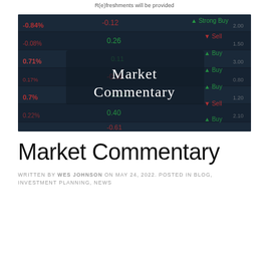R(e)freshments will be provided
[Figure (photo): Dark stock market ticker board showing price movements with red negative values, green positive values, Buy/Sell indicators, and overlaid white text reading 'Market Commentary']
Market Commentary
WRITTEN BY WES JOHNSON ON MAY 24, 2022. POSTED IN BLOG, INVESTMENT PLANNING, NEWS